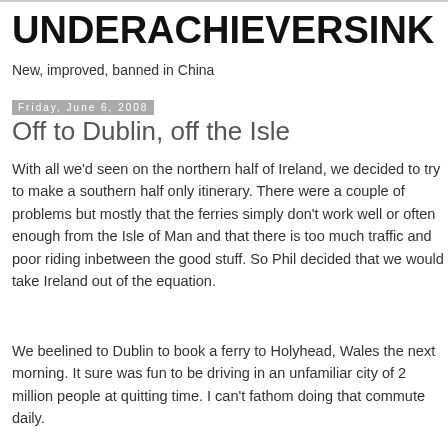UNDERACHIEVERSINK
New, improved, banned in China
Friday, June 6, 2008
Off to Dublin, off the Isle
With all we'd seen on the northern half of Ireland, we decided to try to make a southern half only itinerary. There were a couple of problems but mostly that the ferries simply don't work well or often enough from the Isle of Man and that there is too much traffic and poor riding inbetween the good stuff. So Phil decided that we would take Ireland out of the equation.
We beelined to Dublin to book a ferry to Holyhead, Wales the next morning. It sure was fun to be driving in an unfamiliar city of 2 million people at quitting time. I can't fathom doing that commute daily.